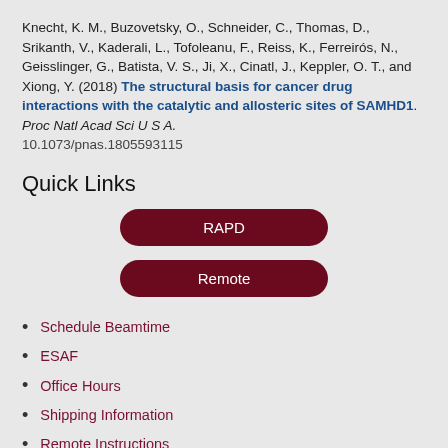Knecht, K. M., Buzovetsky, O., Schneider, C., Thomas, D., Srikanth, V., Kaderali, L., Tofoleanu, F., Reiss, K., Ferreirós, N., Geisslinger, G., Batista, V. S., Ji, X., Cinatl, J., Keppler, O. T., and Xiong, Y. (2018) The structural basis for cancer drug interactions with the catalytic and allosteric sites of SAMHD1. Proc Natl Acad Sci U S A. 10.1073/pnas.1805593115
Quick Links
[Figure (other): Two pill-shaped dark red buttons labeled RAPD and Remote, centered on a gray background]
Schedule Beamtime
ESAF
Office Hours
Shipping Information
Remote Instructions